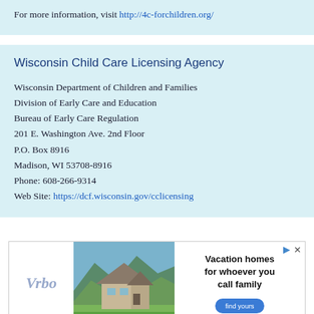For more information, visit http://4c-forchildren.org/
Wisconsin Child Care Licensing Agency
Wisconsin Department of Children and Families
Division of Early Care and Education
Bureau of Early Care Regulation
201 E. Washington Ave. 2nd Floor
P.O. Box 8916
Madison, WI 53708-8916
Phone: 608-266-9314
Web Site: https://dcf.wisconsin.gov/cclicensing
[Figure (infographic): Advertisement banner for Vrbo vacation home rentals, showing a mountain house image, Vrbo logo, text 'Vacation homes for whoever you call family', and a 'find yours' button.]